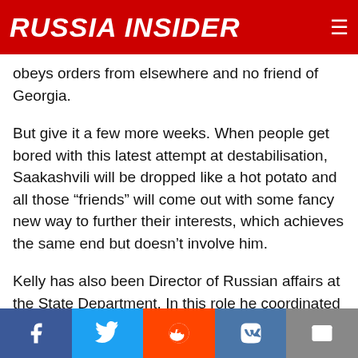RUSSIA INSIDER
obeys orders from elsewhere and no friend of Georgia.
But give it a few more weeks. When people get bored with this latest attempt at destabilisation, Saakashvili will be dropped like a hot potato and all those “friends” will come out with some fancy new way to further their interests, which achieves the same end but doesn’t involve him.
Kelly has also been Director of Russian affairs at the State Department. In this role he coordinated the activities of about a dozen federal agencies involved in “democracy programmes” in former
Facebook Twitter Reddit VK Email